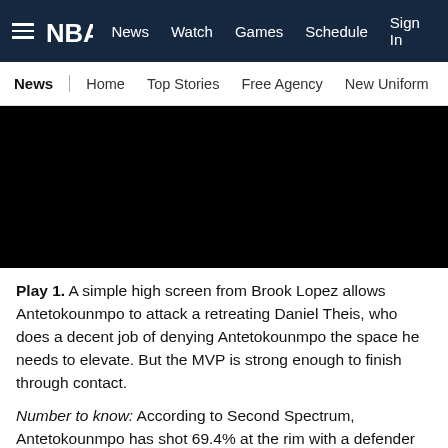NBA — News | Watch | Games | Schedule | Sign In
News | Home | Top Stories | Free Agency | New Uniform
[Figure (photo): Black video player thumbnail]
Play 1. A simple high screen from Brook Lopez allows Antetokounmpo to attack a retreating Daniel Theis, who does a decent job of denying Antetokounmpo the space he needs to elevate. But the MVP is strong enough to finish through contact.
Number to know: According to Second Spectrum, Antetokounmpo has shot 69.4% at the rim with a defender there to contest. That's the fourth best